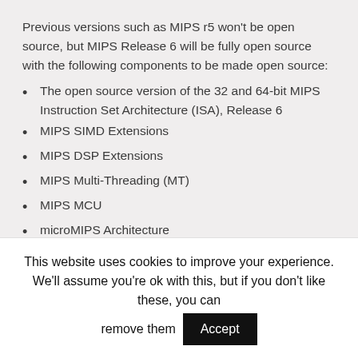Previous versions such as MIPS r5 won't be open source, but MIPS Release 6 will be fully open source with the following components to be made open source:
The open source version of the 32 and 64-bit MIPS Instruction Set Architecture (ISA), Release 6
MIPS SIMD Extensions
MIPS DSP Extensions
MIPS Multi-Threading (MT)
MIPS MCU
microMIPS Architecture
MIPS Virtualization (VZ)
The launch is scheduled to take place in Q1 2019 with all resources available on MIPS Open Community website
This website uses cookies to improve your experience. We'll assume you're ok with this, but if you don't like these, you can remove them  Accept